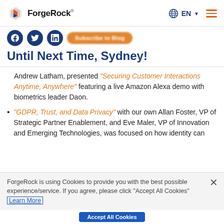ForgeRock — EN menu
[Figure (logo): ForgeRock logo with orange diamond icon and company name]
Until Next Time, Sydney!
Andrew Latham, presented "Securing Customer Interactions Anytime, Anywhere" featuring a live Amazon Alexa demo with biometrics leader Daon.
"GDPR, Trust, and Data Privacy" with our own Allan Foster, VP of Strategic Partner Enablement, and Eve Maler, VP of Innovation and Emerging Technologies, was focused on how identity can
ForgeRock is using Cookies to provide you with the best possible experience/service. If you agree, please click "Accept All Cookies" Learn More